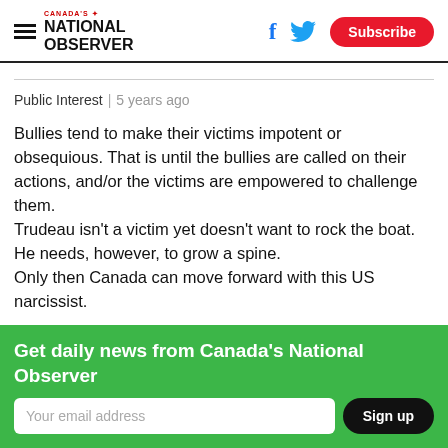Canada's National Observer | Subscribe
Public Interest | 5 years ago
Bullies tend to make their victims impotent or obsequious. That is until the bullies are called on their actions, and/or the victims are empowered to challenge them. Trudeau isn't a victim yet doesn't want to rock the boat. He needs, however, to grow a spine. Only then Canada can move forward with this US narcissist.
Get daily news from Canada's National Observer
Your email address